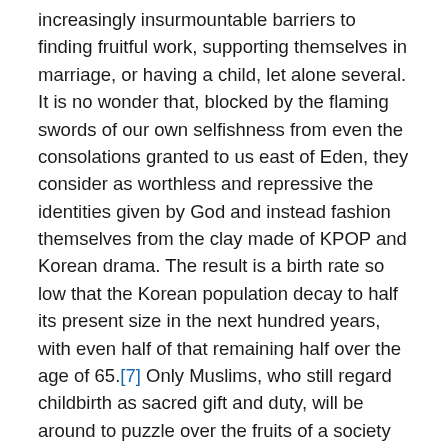increasingly insurmountable barriers to finding fruitful work, supporting themselves in marriage, or having a child, let alone several. It is no wonder that, blocked by the flaming swords of our own selfishness from even the consolations granted to us east of Eden, they consider as worthless and repressive the identities given by God and instead fashion themselves from the clay made of KPOP and Korean drama. The result is a birth rate so low that the Korean population decay to half its present size in the next hundred years, with even half of that remaining half over the age of 65.[7] Only Muslims, who still regard childbirth as sacred gift and duty, will be around to puzzle over the fruits of a society bent on the self-destruction of self-creation.
[1] 2 Cor. 4:11, NIV.